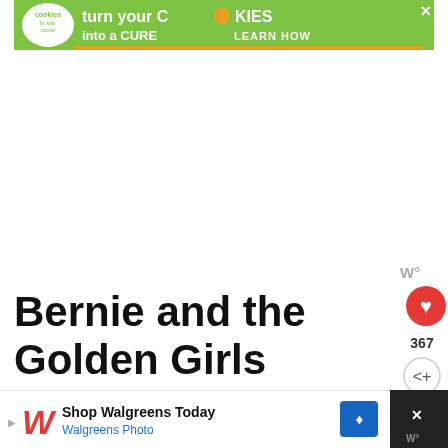[Figure (screenshot): Top advertisement banner: green background with cookies for kids cancer logo and text 'turn your COOKIES into a CURE LEARN HOW']
Bernie and the Golden Girls Meme
[Figure (screenshot): Right sidebar UI with Wattpad-style W icon, red heart button, 367 count, and share button. Also 'WHAT'S NEXT' box with thumbnail and 'Best Memes of 2021']
I can only imagine what Sophia from the Golden Girls would be
[Figure (screenshot): Bottom advertisement banner: Walgreens ad 'Shop Walgreens Today / Walgreens Photo' with navigation arrow icon and close button]